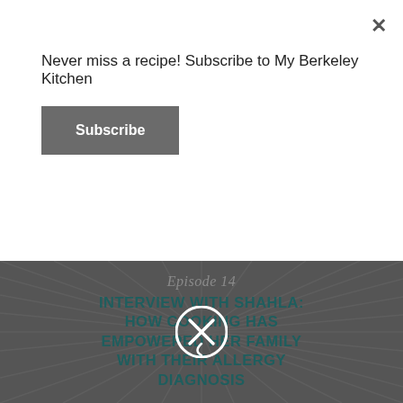Never miss a recipe! Subscribe to My Berkeley Kitchen
Subscribe
[Figure (screenshot): Dark gray background with sunburst/radial ray pattern. Text overlay: 'Episode 14' in italic serif, and bold uppercase title 'INTERVIEW WITH SHAHLA: HOW COOKING HAS EMPOWERED HER FAMILY WITH THEIR ALLERGY DIAGNOSIS'. A white X close icon is centered over the image.]